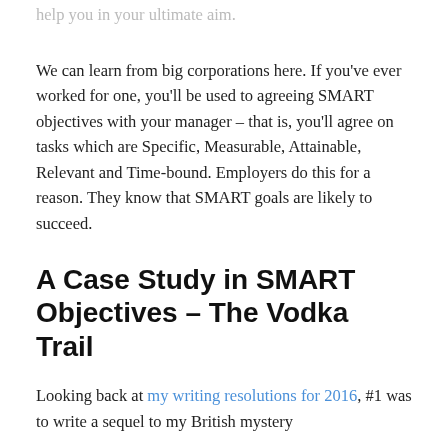help you in your ultimate aim.
We can learn from big corporations here. If you've ever worked for one, you'll be used to agreeing SMART objectives with your manager – that is, you'll agree on tasks which are Specific, Measurable, Attainable, Relevant and Time-bound. Employers do this for a reason. They know that SMART goals are likely to succeed.
A Case Study in SMART Objectives – The Vodka Trail
Looking back at my writing resolutions for 2016, #1 was to write a sequel to my British mystery